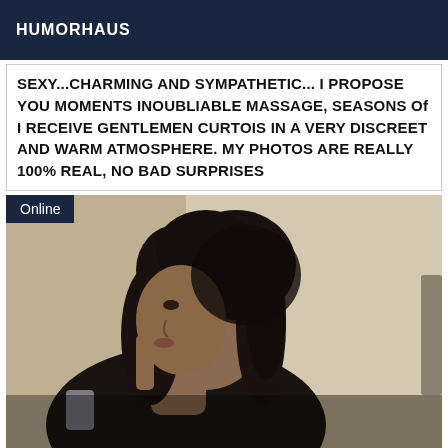HUMORHAUS
SEXY...CHARMING AND SYMPATHETIC... I PROPOSE YOU MOMENTS INOUBLIABLE MASSAGE, SEASONS Of I RECEIVE GENTLEMEN CURTOIS IN A VERY DISCREET AND WARM ATMOSPHERE. MY PHOTOS ARE REALLY 100% REAL, NO BAD SURPRISES
[Figure (photo): Side profile photo of a woman with long dark curly hair tied up, wearing a dark top, finger near mouth, indoor setting. Badge overlay reading 'Online' in top-left corner.]